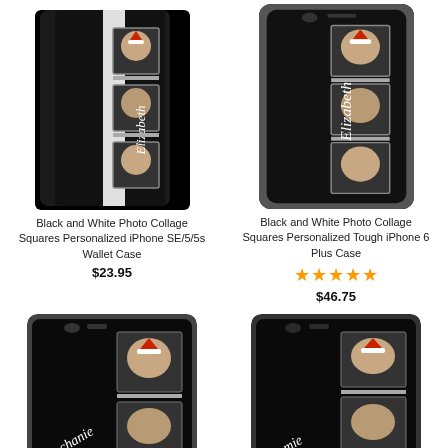[Figure (photo): Black phone wallet case with photo collage of dog in Santa hat and 'Elizabeth' text]
Black and White Photo Collage Squares Personalized iPhone SE/5/5s Wallet Case
$23.95
[Figure (photo): Black tough iPhone 6 Plus case with photo collage of dog in Santa hat and 'Elizabeth' text]
Black and White Photo Collage Squares Personalized Tough iPhone 6 Plus Case
★★★★★
$46.75
[Figure (photo): Black iPhone case with photo collage of dog in Santa hat and cursive name text (bottom left)]
[Figure (photo): Black iPhone case with photo collage of dog in Santa hat and cursive name text (bottom right)]